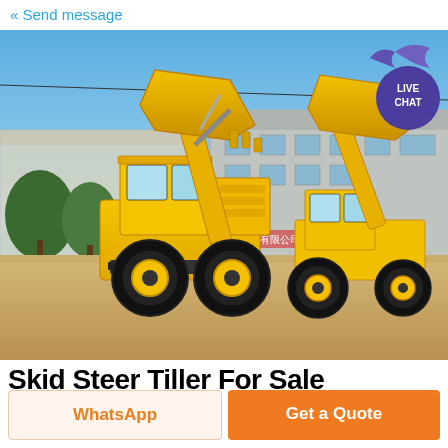« Send message
[Figure (photo): Two yellow wheel loaders with front buckets raised, parked on a dirt lot in front of a large industrial building. Blue sky background. A 'LIVE CHAT' badge is visible in the top-right corner of the photo.]
Skid Steer Tiller For Sale
WhatsApp
Get a Quote